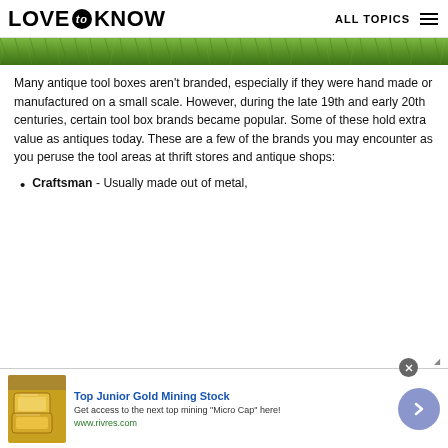LOVE to KNOW  ALL TOPICS
[Figure (photo): Grass texture photograph strip at top of page]
Many antique tool boxes aren't branded, especially if they were hand made or manufactured on a small scale. However, during the late 19th and early 20th centuries, certain tool box brands became popular. Some of these hold extra value as antiques today. These are a few of the brands you may encounter as you peruse the tool areas at thrift stores and antique shops:
Craftsman - Usually made out of metal,
[Figure (screenshot): Advertisement banner: Top Junior Gold Mining Stock - Get access to the next top mining Micro Cap here! www.rivres.com]